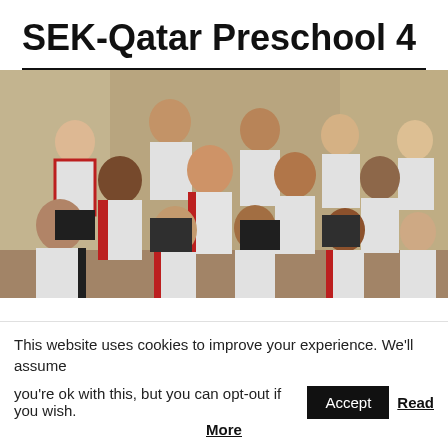SEK-Qatar Preschool 4
[Figure (photo): Group photo of young preschool children wearing white and red sports uniforms, posing together outdoors against a light-colored wall]
This website uses cookies to improve your experience. We'll assume you're ok with this, but you can opt-out if you wish. Accept Read More